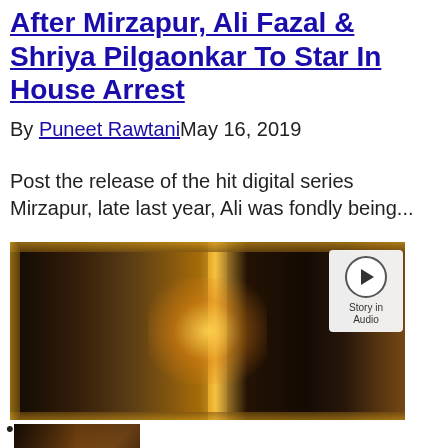After Mirzapur, Ali Fazal & Shriya Pilgaonkar To Star In House Arrest
By Puneet RawtaniMay 16, 2019
Post the release of the hit digital series Mirzapur, late last year, Ali was fondly being...
[Figure (photo): Movie poster for House Arrest featuring actors Ali Fazal and Shriya Pilgaonkar with ornate golden frame, dramatic lighting with central glow effect. A play button and 'Story in Audio' overlay appears in the top right corner.]
[Figure (photo): Thumbnail image showing actors from the movie/show at the bottom of the page.]